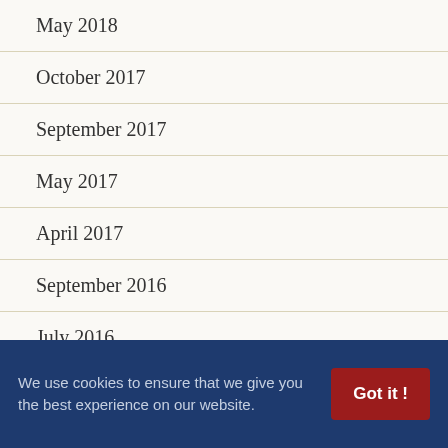May 2018
October 2017
September 2017
May 2017
April 2017
September 2016
July 2016
June 2016
May 2016
We use cookies to ensure that we give you the best experience on our website. Got it !